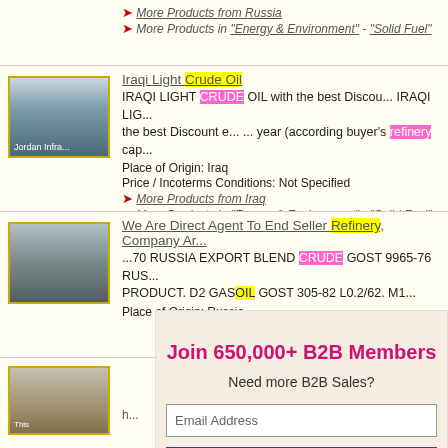More Products from Russia
More Products in "Energy & Environment" - "Solid Fuel"
Iraqi Light Crude Oil
IRAQI LIGHT CRUDE OIL with the best Discou... IRAQI LIGHT CRUDE OIL with the best Discount e... ... year (according buyer's refinery cap...
Place of Origin: Iraq
Price / Incoterms Conditions: Not Specified
More Products from Iraq
More Products in "Energy & Environment" - "Solid Fuel"
We Are Direct Agent To End Seller Refinery, Company Ar...
...70 RUSSIA EXPORT BLEND CRUDE GOST 9965-76 RUS... PRODUCT. D2 GASOIL GOST 305-82 L0.2/62. M1...
Place of Origin: Russia
Join 650,000+ B2B Members
Need more B2B Sales?
Email Address
Get More B2B Sales